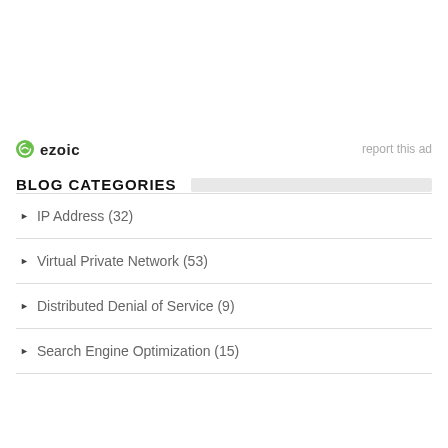[Figure (logo): Ezoic logo with green circular icon and bold text 'ezoic', alongside 'report this ad' text in light gray]
BLOG CATEGORIES
IP Address (32)
Virtual Private Network (53)
Distributed Denial of Service (9)
Search Engine Optimization (15)